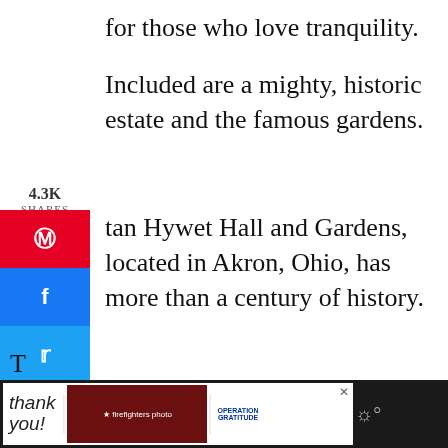for those who love tranquility.
Included are a mighty, historic estate and the famous gardens.
4.3K SHARES
tan Hywet Hall and Gardens, located in Akron, Ohio, has more than a century of history.
A. Seiberling, a founding member of the Goodyear Tire and Rubber Company, built the estate portion.
[Figure (screenshot): Social share sidebar with Pinterest, Facebook, Twitter, Reddit, Email buttons; floating heart and share action buttons with 4.4K count]
[Figure (screenshot): Bottom advertisement bar with 'Thank you' text, firefighters photo, Operation Gratitude logo, and weather icon]